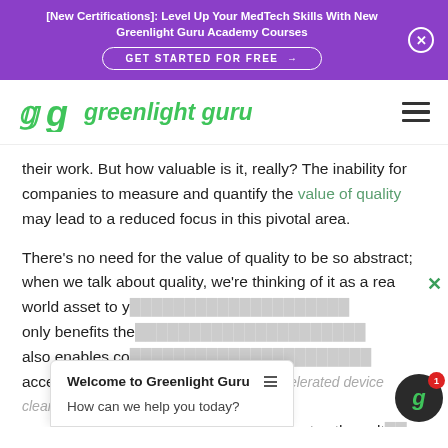[New Certifications]: Level Up Your MedTech Skills With New Greenlight Guru Academy Courses GET STARTED FOR FREE →
[Figure (logo): Greenlight Guru logo — green stylized 'g' icon with italic text 'greenlight guru' in green]
their work. But how valuable is it, really? The inability for companies to measure and quantify the value of quality may lead to a reduced focus in this pivotal area.
There's no need for the value of quality to be so abstract; when we talk about quality, we're thinking of it as a real-world asset to y... only benefits the... also enables co... accelerated dev... accelerated device clearance timelines, reduced risk, near real-time audit readiness, and promotes the culture of quality necessary to be a top performer in the industry.
Welcome to Greenlight Guru
How can we help you today?